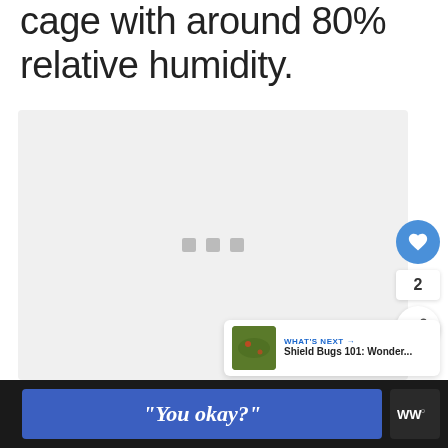cage with around 80% relative humidity.
[Figure (photo): Image loading placeholder with three small grey squares centered in a light grey rectangular area]
[Figure (infographic): UI overlay with heart/like button (blue circle), count '2', share button, and 'WHAT'S NEXT' card showing 'Shield Bugs 101: Wonder...' with a thumbnail]
"You okay?" [advertisement banner with Wm logo]